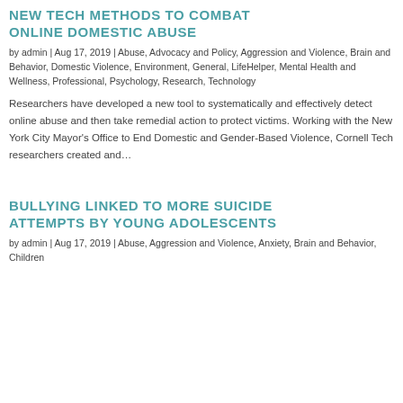NEW TECH METHODS TO COMBAT ONLINE DOMESTIC ABUSE
by admin | Aug 17, 2019 | Abuse, Advocacy and Policy, Aggression and Violence, Brain and Behavior, Domestic Violence, Environment, General, LifeHelper, Mental Health and Wellness, Professional, Psychology, Research, Technology
Researchers have developed a new tool to systematically and effectively detect online abuse and then take remedial action to protect victims. Working with the New York City Mayor's Office to End Domestic and Gender-Based Violence, Cornell Tech researchers created and...
BULLYING LINKED TO MORE SUICIDE ATTEMPTS BY YOUNG ADOLESCENTS
by admin | Aug 17, 2019 | Abuse, Aggression and Violence, Anxiety, Brain and Behavior, Children